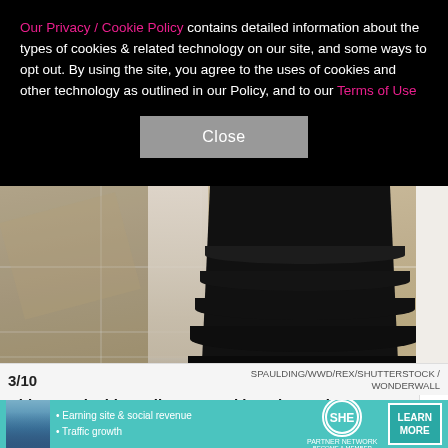Our Privacy / Cookie Policy contains detailed information about the types of cookies & related technology on our site, and some ways to opt out. By using the site, you agree to the uses of cookies and other technology as outlined in our Policy, and to our Terms of Use
[Figure (photo): Close-up photo of two people's legs/feet on a stone tile floor. On the left, a person wearing a sparkly/sequined light-colored gown with open-toe heels showing dark nail polish. On the right, a person wearing a voluminous black ruffled/tiered gown. A white wall is visible on the far right.]
3/10
SPAULDING/WWD/REX/SHUTTERSTOCK / WONDERWALL
Khloe Kardashian toilet papered her sister's house as a
• Earning site & social revenue • Traffic growth
SHE PARTNER NETWORK BECOME A MEMBER
LEARN MORE